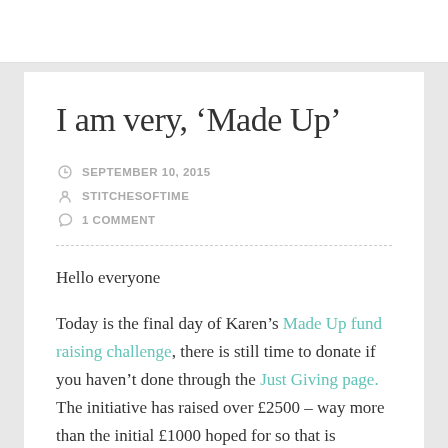I am very, ‘Made Up’
SEPTEMBER 10, 2015 | STITCHESOFTIME | 1 COMMENT
Hello everyone
Today is the final day of Karen’s Made Up fund raising challenge, there is still time to donate if you haven’t done through the Just Giving page. The initiative has raised over £2500 – way more than the initial £1000 hoped for so that is brilliant, well done